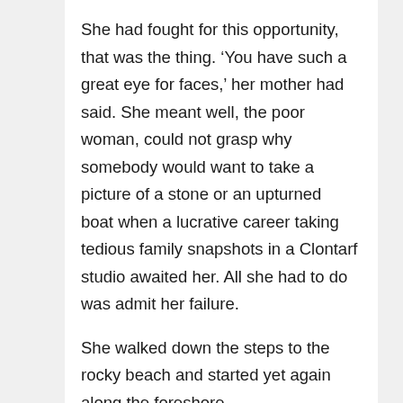She had fought for this opportunity, that was the thing. ‘You have such a great eye for faces,’ her mother had said. She meant well, the poor woman, could not grasp why somebody would want to take a picture of a stone or an upturned boat when a lucrative career taking tedious family snapshots in a Clontarf studio awaited her. All she had to do was admit her failure.
She walked down the steps to the rocky beach and started yet again along the foreshore.
‘I’m going home today.’
‘You’re so close, Jenna, you need to stay.’ This was Oliver, or rather his voice. Oliver had been a brilliant photography lecturer, an enthusiastic